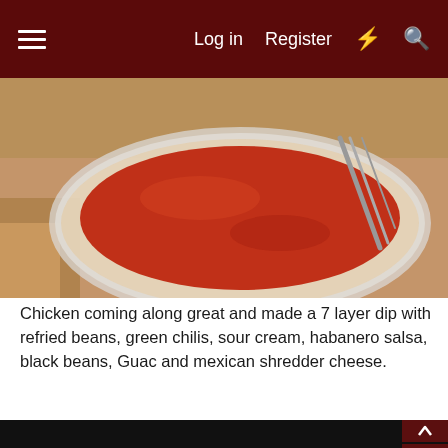Log in  Register
[Figure (photo): A plastic container with orange-red habanero salsa and a fork resting on a brown surface]
Chicken coming along great and made a 7 layer dip with refried beans, green chilis, sour cream, habanero salsa, black beans, Guac and mexican shredder cheese.
[Figure (photo): Grilled chicken pieces on a dark smoker/grill rack with grill marks visible, watermark overlay present]